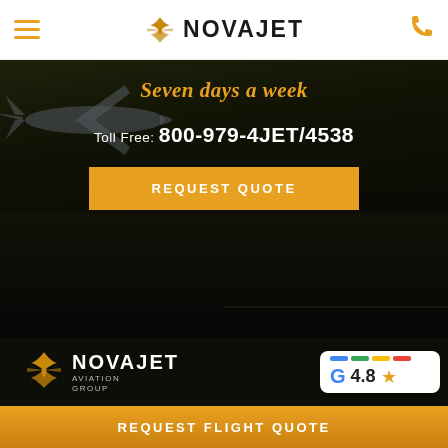[Figure (logo): NovaJet logo with airplane icon in header navigation bar]
[Figure (photo): Dark background with jet airplane on runway, hero section with text overlay]
Seven days a week
Toll Free: 800-979-4JET/4538
REQUEST QUOTE
[Figure (logo): NovaJet Aviation Group logo on dark background with Google 4.8 star rating badge]
REQUEST FLIGHT QUOTE